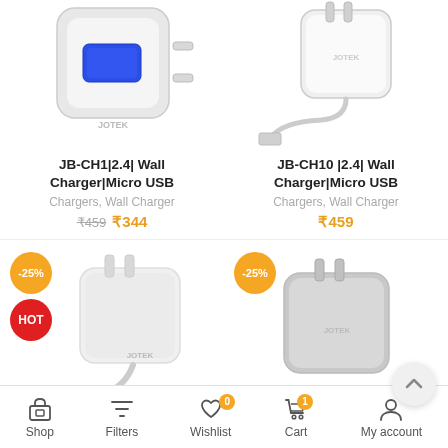[Figure (photo): JB-CH1 white USB wall charger product photo, square body with single USB-A port]
[Figure (photo): JB-CH10 white wall charger with attached micro USB cable, angled view]
JB-CH1|2.4| Wall Charger|Micro USB
Chargers, Wall Charger
₹459 ₹344
JB-CH10 |2.4| Wall Charger|Micro USB
Chargers, Wall Charger
₹459
[Figure (photo): White JOTEK wall charger with attached cable, -25% discount badge and HOT badge]
[Figure (photo): Gray/white JOTEK wall charger product photo with -25% discount badge]
Shop  Filters  Wishlist  Cart  My account